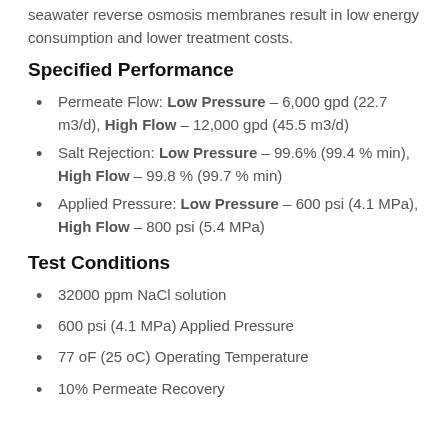seawater reverse osmosis membranes result in low energy consumption and lower treatment costs.
Specified Performance
Permeate Flow: Low Pressure – 6,000 gpd (22.7 m3/d), High Flow – 12,000 gpd (45.5 m3/d)
Salt Rejection: Low Pressure – 99.6% (99.4 % min), High Flow – 99.8 % (99.7 % min)
Applied Pressure: Low Pressure – 600 psi (4.1 MPa), High Flow – 800 psi (5.4 MPa)
Test Conditions
32000 ppm NaCl solution
600 psi (4.1 MPa) Applied Pressure
77 oF (25 oC) Operating Temperature
10% Permeate Recovery